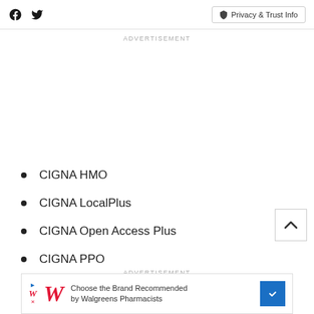Social icons (Facebook, Twitter) | Privacy & Trust Info
ADVERTISEMENT
CIGNA HMO
CIGNA LocalPlus
CIGNA Open Access Plus
CIGNA PPO
ADVERTISEMENT
[Figure (other): Walgreens advertisement banner: Choose the Brand Recommended by Walgreens Pharmacists]